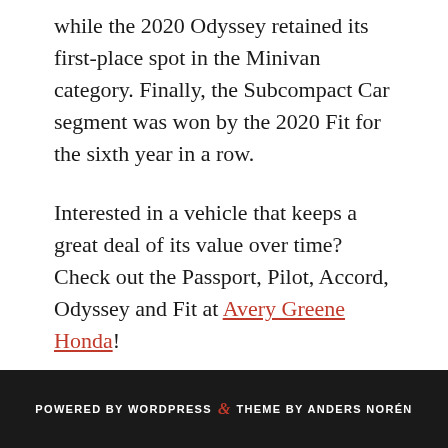while the 2020 Odyssey retained its first-place spot in the Minivan category. Finally, the Subcompact Car segment was won by the 2020 Fit for the sixth year in a row.
Interested in a vehicle that keeps a great deal of its value over time? Check out the Passport, Pilot, Accord, Odyssey and Fit at Avery Greene Honda!
*Based on ALG’s residual value forecast for the 2019 model year.
POWERED BY WORDPRESS & THEME BY ANDERS NORÉN